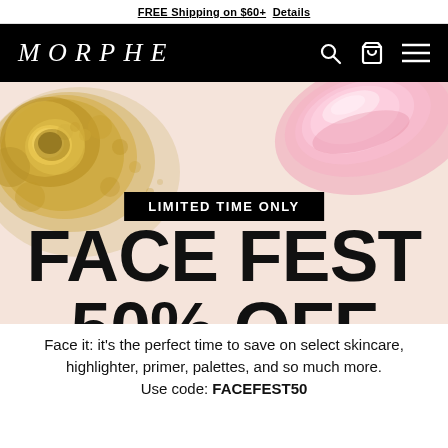FREE Shipping on $60+  Details
[Figure (logo): Morphe brand logo in white italic serif text on black navigation bar with search, bag, and menu icons]
[Figure (photo): Close-up of gold shimmer eyeshadow powder crumbled on pink background with a pink lip gloss swatch]
LIMITED TIME ONLY
FACE FEST 50% OFF
Face it: it's the perfect time to save on select skincare, highlighter, primer, palettes, and so much more.
Use code: FACEFEST50